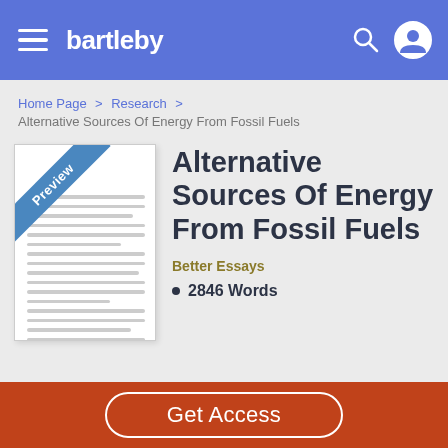bartleby
Home Page > Research > Alternative Sources Of Energy From Fossil Fuels
Alternative Sources Of Energy From Fossil Fuels
[Figure (illustration): Preview thumbnail of a document page with a blue diagonal ribbon labeled 'Preview' in the top-left corner and horizontal lines representing text content]
Better Essays
2846 Words
Get Access